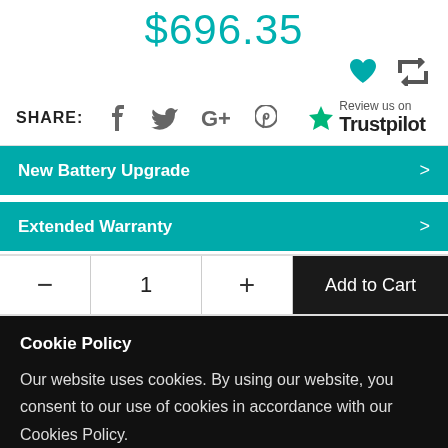$696.35
SHARE: [Facebook] [Twitter] [Google+] [Pinterest] [Review us on Trustpilot]
New Battery Upgrade >
Extended Warranty >
- 1 + Add to Cart
Cookie Policy
Our website uses cookies. By using our website, you consent to our use of cookies in accordance with our Cookies Policy.
Click here to learn about cookies
I Agree